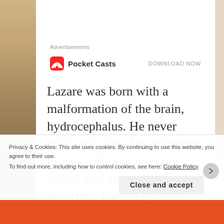[Figure (illustration): Left decorative image strip with warm brown/golden tones]
Advertisements
[Figure (logo): Pocket Casts app logo with rainbow semicircle icon and brand name, with DOWNLOAD NOW call to action]
Lazare was born with a malformation of the brain, hydrocephalus. He never cries, not even if he is hungry; he eats little and does not move. And yet he is so beautiful. The doctor who examined him said he must return next Friday and, perhaps, it would be possible to operate the following Monday, that is, if there was enough money to buy all the operating
Privacy & Cookies: This site uses cookies. By continuing to use this website, you agree to their use.
To find out more, including how to control cookies, see here: Cookie Policy
Close and accept